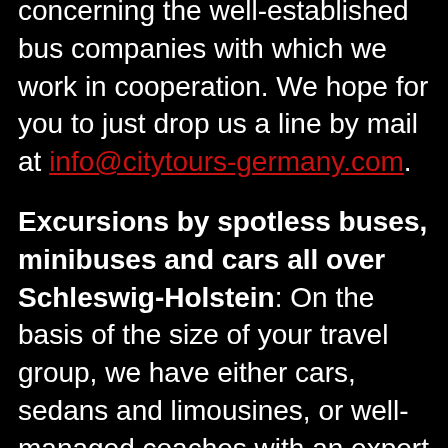concerning the well-established bus companies with which we work in cooperation. We hope for you to just drop us a line by mail at info@citytours-germany.com.
Excursions by spotless buses, minibuses and cars all over Schleswig-Holstein: On the basis of the size of your travel group, we have either cars, sedans and limousines, or well-managed coaches with an expert driver that you can book for all varieties of made-to-measure sightseeing trips. If you intend to enjoy your comprehensible